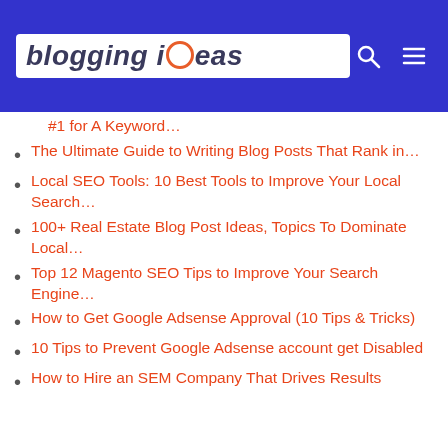[Figure (logo): Blogging Ideas logo with orange circle accent in blue header bar, with search and menu icons]
#1 for A Keyword…
The Ultimate Guide to Writing Blog Posts That Rank in…
Local SEO Tools: 10 Best Tools to Improve Your Local Search…
100+ Real Estate Blog Post Ideas, Topics To Dominate Local…
Top 12 Magento SEO Tips to Improve Your Search Engine…
How to Get Google Adsense Approval (10 Tips & Tricks)
10 Tips to Prevent Google Adsense account get Disabled
How to Hire an SEM Company That Drives Results